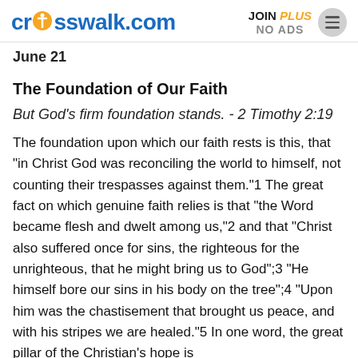crosswalk.com | JOIN PLUS NO ADS
June 21
The Foundation of Our Faith
But God's firm foundation stands. - 2 Timothy 2:19
The foundation upon which our faith rests is this, that "in Christ God was reconciling the world to himself, not counting their trespasses against them."1 The great fact on which genuine faith relies is that "the Word became flesh and dwelt among us,"2 and that "Christ also suffered once for sins, the righteous for the unrighteous, that he might bring us to God";3 "He himself bore our sins in his body on the tree";4 "Upon him was the chastisement that brought us peace, and with his stripes we are healed."5 In one word, the great pillar of the Christian's hope is